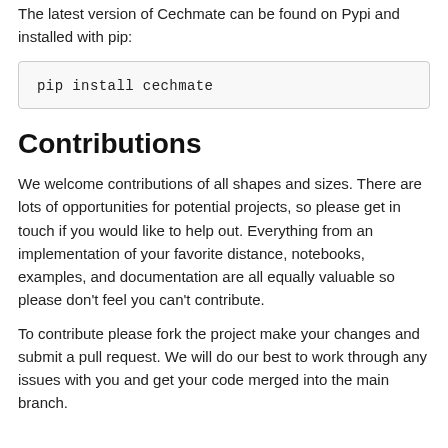The latest version of Cechmate can be found on Pypi and installed with pip:
pip install cechmate
Contributions
We welcome contributions of all shapes and sizes. There are lots of opportunities for potential projects, so please get in touch if you would like to help out. Everything from an implementation of your favorite distance, notebooks, examples, and documentation are all equally valuable so please don't feel you can't contribute.
To contribute please fork the project make your changes and submit a pull request. We will do our best to work through any issues with you and get your code merged into the main branch.